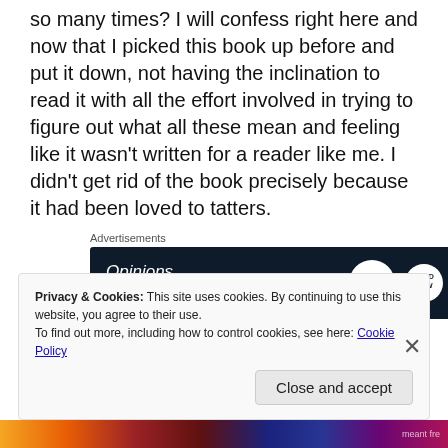so many times? I will confess right here and now that I picked this book up before and put it down, not having the inclination to read it with all the effort involved in trying to figure out what all these mean and feeling like it wasn't written for a reader like me. I didn't get rid of the book precisely because it had been loved to tatters.
Advertisements
[Figure (screenshot): WordPress advertisement banner with dark navy background. Text reads 'Opinions. We all have them!' with WordPress 'W' logo and a small icon on the right.]
I asked my husband if his mother spoke these languages and he said no, or at least he didn't think so. I know she
Privacy & Cookies: This site uses cookies. By continuing to use this website, you agree to their use.
To find out more, including how to control cookies, see here: Cookie Policy
Close and accept